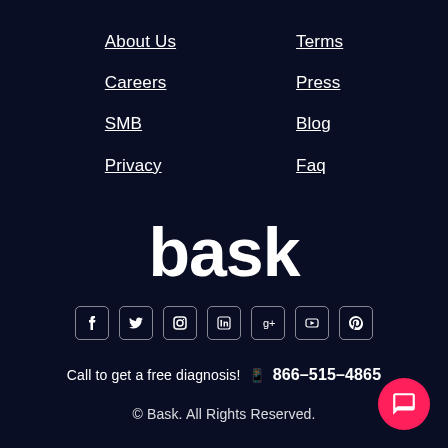About Us
Terms
Careers
Press
SMB
Blog
Privacy
Faq
[Figure (logo): bask logo in large white bold lowercase text]
[Figure (illustration): Social media icons: Facebook, Twitter, Instagram, LinkedIn, Google+, YouTube, Pinterest — each in a rounded rectangle border]
Call to get a free diagnosis!  📱  866-515-4865
© Bask. All Rights Reserved.